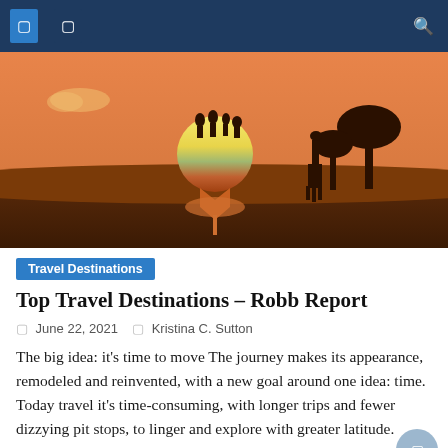Navigation bar with icons and search
[Figure (illustration): African safari illustration: orange sunset sky, silhouettes of people atop a large hourglass-shaped sun, a giraffe, and acacia trees on a dark savannah horizon.]
Travel Destinations
Top Travel Destinations – Robb Report
June 22, 2021  Kristina C. Sutton
The big idea: it's time to move The journey makes its appearance, remodeled and reinvented, with a new goal around one idea: time. Today travel it's time-consuming, with longer trips and fewer dizzying pit stops, to linger and explore with greater latitude. Many may have taken their